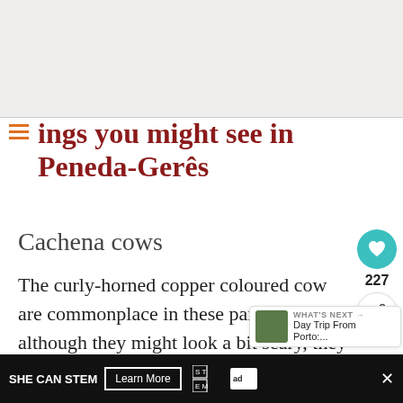[Figure (photo): Top image area, partially visible photo]
ings you might see in Peneda-Gerês
Cachena cows
The curly-horned copper coloured cow are commonplace in these parts, although they might look a bit scary, they ar
SHE CAN STEM  Learn More  ad council